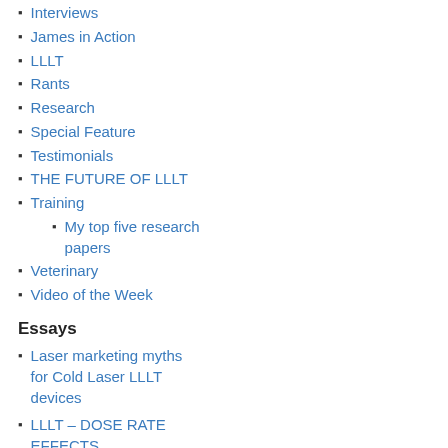Interviews
James in Action
LLLT
Rants
Research
Special Feature
Testimonials
THE FUTURE OF LLLT
Training
My top five research papers
Veterinary
Video of the Week
Essays
Laser marketing myths for Cold Laser LLLT devices
LLLT – DOSE RATE EFFECTS
NOMENCLATURE